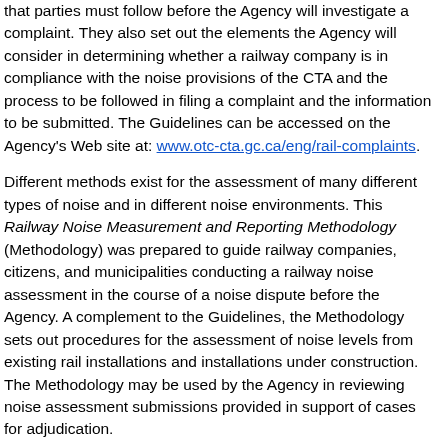that parties must follow before the Agency will investigate a complaint. They also set out the elements the Agency will consider in determining whether a railway company is in compliance with the noise provisions of the CTA and the process to be followed in filing a complaint and the information to be submitted. The Guidelines can be accessed on the Agency's Web site at: www.otc-cta.gc.ca/eng/rail-complaints.
Different methods exist for the assessment of many different types of noise and in different noise environments. This Railway Noise Measurement and Reporting Methodology (Methodology) was prepared to guide railway companies, citizens, and municipalities conducting a railway noise assessment in the course of a noise dispute before the Agency. A complement to the Guidelines, the Methodology sets out procedures for the assessment of noise levels from existing rail installations and installations under construction. The Methodology may be used by the Agency in reviewing noise assessment submissions provided in support of cases for adjudication.